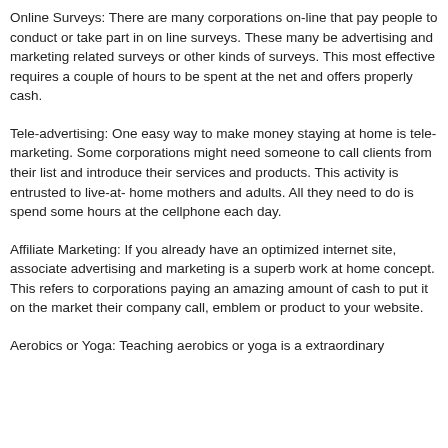Online Surveys: There are many corporations on-line that pay people to conduct or take part in on line surveys. These many be advertising and marketing related surveys or other kinds of surveys. This most effective requires a couple of hours to be spent at the net and offers properly cash.
Tele-advertising: One easy way to make money staying at home is tele-marketing. Some corporations might need someone to call clients from their list and introduce their services and products. This activity is entrusted to live-at- home mothers and adults. All they need to do is spend some hours at the cellphone each day.
Affiliate Marketing: If you already have an optimized internet site, associate advertising and marketing is a superb work at home concept. This refers to corporations paying an amazing amount of cash to put it on the market their company call, emblem or product to your website.
Aerobics or Yoga: Teaching aerobics or yoga is a extraordinary